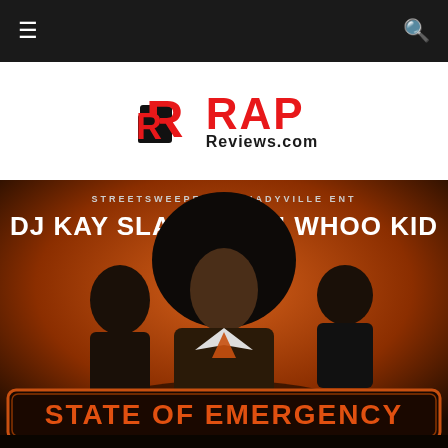≡  [navigation bar]  🔍
[Figure (logo): RapReviews.com logo with red stylized R icon and bold red RAP text with Reviews.com subtitle]
[Figure (photo): Album cover for 'State of Emergency' mixtape by DJ Kay Slay and DJ Whoo Kid (Streetsweepers • Shadyville Ent). Features Snoop Dogg with large afro in center, flanked by other artists. Orange/fire background with large orange text 'STATE OF EMERGENCY' in a bordered box at bottom.]